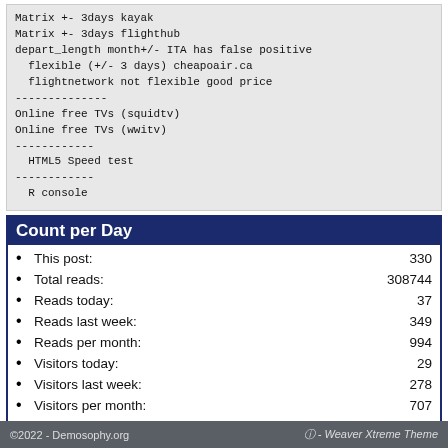Matrix +- 3days kayak
Matrix +- 3days flighthub
depart_length month+/- ITA has false positive
  flexible (+/- 3 days) cheapoair.ca
  flightnetwork not flexible good price
--------------
Online free TVs (squidtv)
Online free TVs (wwitv)
------------
  HTML5 Speed test
------------
  R console
| Item | Value |
| --- | --- |
| This post: | 330 |
| Total reads: | 308744 |
| Reads today: | 37 |
| Reads last week: | 349 |
| Reads per month: | 994 |
| Visitors today: | 29 |
| Visitors last week: | 278 |
| Visitors per month: | 707 |
| Visitors per day: | 36 |
| Visitors currently online: | 1 |
©2022 - Demosophy.org    - Weaver Xtreme Theme